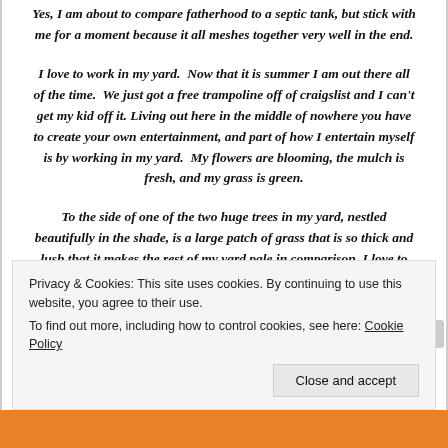Yes, I am about to compare fatherhood to a septic tank, but stick with me for a moment because it all meshes together very well in the end.
I love to work in my yard.  Now that it is summer I am out there all of the time.  We just got a free trampoline off of craigslist and I can't get my kid off it. Living out here in the middle of nowhere you have to create your own entertainment, and part of how I entertain myself is by working in my yard.  My flowers are blooming, the mulch is fresh, and my grass is green.
To the side of one of the two huge trees in my yard, nestled beautifully in the shade, is a large patch of grass that is so thick and lush that it makes the rest of my yard pale in comparison. I love to cut that spot because when it
Privacy & Cookies: This site uses cookies. By continuing to use this website, you agree to their use.
To find out more, including how to control cookies, see here: Cookie Policy
Close and accept